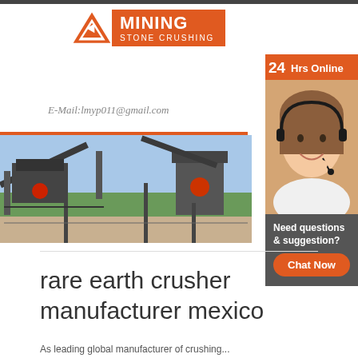[Figure (logo): Mining Stone Crushing company logo with orange triangle and orange rectangle with white text]
[Figure (photo): Customer service representative wearing headset, smiling, with 24Hrs Online badge overlay]
E-Mail:lmyp011@gmail.com
[Figure (photo): Mining stone crushing machinery and conveyor belt equipment at industrial site]
Need questions & suggestion?
Chat Now
rare earth crusher manufacturer mexico
As leading global manufacturer of crushing...